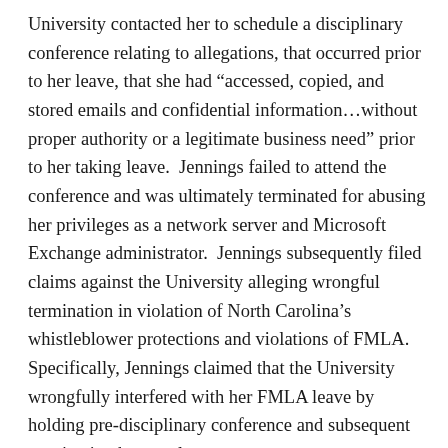University contacted her to schedule a disciplinary conference relating to allegations, that occurred prior to her leave, that she had “accessed, copied, and stored emails and confidential information…without proper authority or a legitimate business need” prior to her taking leave. Jennings failed to attend the conference and was ultimately terminated for abusing her privileges as a network server and Microsoft Exchange administrator. Jennings subsequently filed claims against the University alleging wrongful termination in violation of North Carolina’s whistleblower protections and violations of FMLA. Specifically, Jennings claimed that the University wrongfully interfered with her FMLA leave by holding pre-disciplinary conference and subsequent terminating her employment.